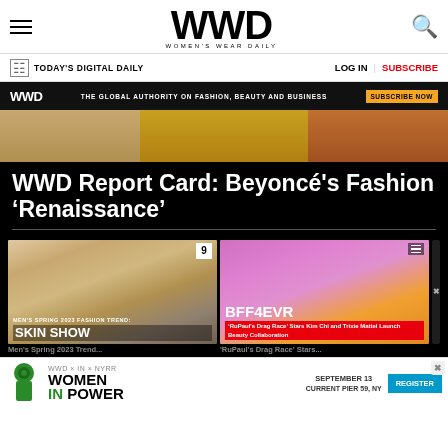WWD — Women's Wear Daily
TODAY'S DIGITAL DAILY | LOG IN | SUBSCRIBE
WWD | THE GLOBAL AUTHORITY ON FASHION, BEAUTY AND BUSINESS | SUBSCRIBE NOW
[Figure (photo): Fashion editorial hero image strip showing three fashion models/figures in colorful outfits]
WWD Report Card: Beyoncé's Fashion 'Renaissance'
[Figure (photo): Men's Spring 2023 Fashion Trend: Skin Show — male model on runway in open white shirt]
MEN'S SPRING 2023 FASHION TREND: SKIN SHOW
[Figure (photo): BFF4EVR — RuPaul's Drag Race Stars Kim Chi and Trixie Mattel Launch Beauty Collaboration — two drag queens in pink and yellow outfits]
BFF4EVR — 'RuPaul's Drag Race' Stars Kim Chi and Trixie Mattel Launch Beauty Collaboration
Men's Spring 2023 Trend...
'RuPaul's Drag Race' Stars...
[Figure (infographic): WWD x IN x NYRR: Women In Power — September 13, Current Pier 59, NY — Register button with chess queen piece icon]